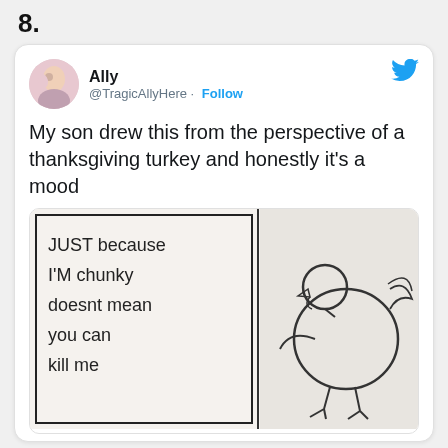8.
Ally @TragicAllyHere · Follow
My son drew this from the perspective of a thanksgiving turkey and honestly it's a mood
[Figure (photo): Child's drawing on paper, split into two panels. Left panel has handwritten text: 'JUST because I'M chuncky doesnt mean you can kill me'. Right panel shows a simple sketch of a round turkey.]
10:02 PM · Nov 16, 2020
Read the full conversation on Twitter
991  Reply  Copy link